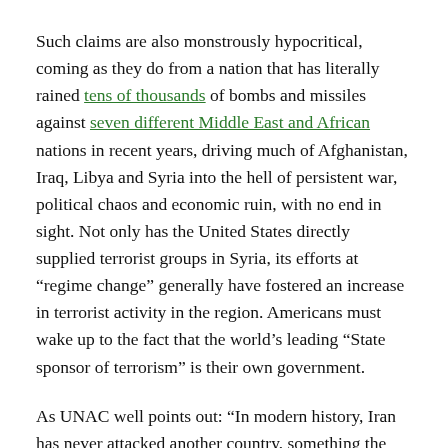Such claims are also monstrously hypocritical, coming as they do from a nation that has literally rained tens of thousands of bombs and missiles against seven different Middle East and African nations in recent years, driving much of Afghanistan, Iraq, Libya and Syria into the hell of persistent war, political chaos and economic ruin, with no end in sight. Not only has the United States directly supplied terrorist groups in Syria, its efforts at “regime change” generally have fostered an increase in terrorist activity in the region. Americans must wake up to the fact that the world’s leading “State sponsor of terrorism” is their own government.
As UNAC well points out: “In modern history, Iran has never attacked another country, something the U.S. has done continuously. Iran has not threatened to attack the U.S. or other countries, only maintaining its right to defend itself. On the other hand, the U.S. has threatened and